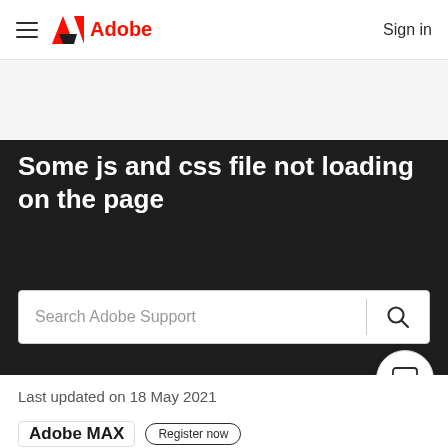≡  Adobe  Sign in
Some js and css file not loading on the page
Search Adobe Support
Last updated on 18 May 2021
Adobe MAX   Register now